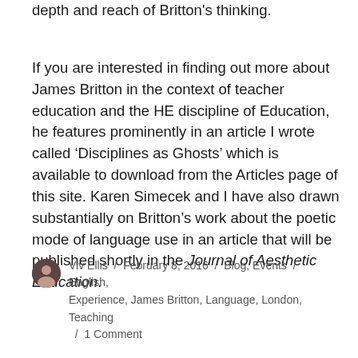depth and reach of Britton's thinking.
If you are interested in finding out more about James Britton in the context of teacher education and the HE discipline of Education, he features prominently in an article I wrote called ‘Disciplines as Ghosts’ which is available to download from the Articles page of this site. Karen Simecek and I have also drawn substantially on Britton’s work about the poetic mode of language use in an article that will be published shortly in the Journal of Aesthetic Education.
Viv Ellis / February 8, 2016 / Blog, Events / English, Experience, James Britton, Language, London, Teaching / 1 Comment